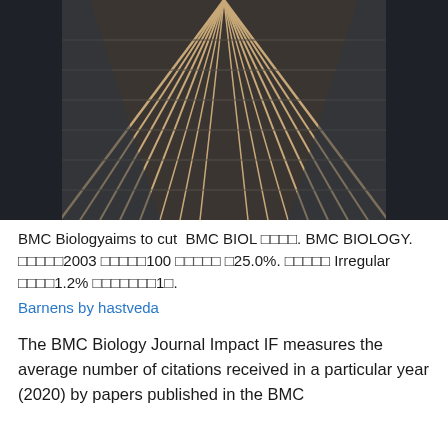[Figure (photo): Upward-angle architectural photograph of a modern skyscraper with diagonal metallic facade elements forming chevron/herringbone patterns, against a grey sky]
BMC Biologyaims to cut  BMC BIOL □□□□. BMC BIOLOGY. □□□□□2003 □□□□□100 □□□□□ □25.0%. □□□□□ Irregular □□□□1.2% □□□□□□□1□.
Barnens by hastveda
The BMC Biology Journal Impact IF measures the average number of citations received in a particular year (2020) by papers published in the BMC